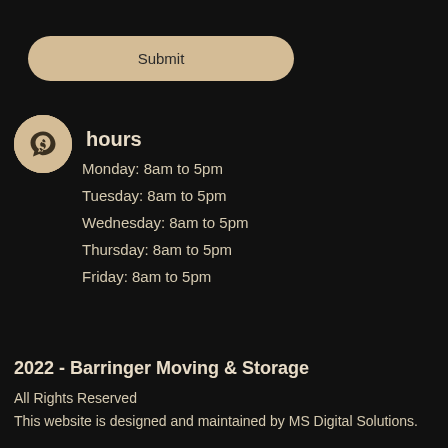[Figure (other): Submit button - rounded rectangle button with beige/tan background and dark text reading 'Submit']
hours
Monday: 8am to 5pm
Tuesday: 8am to 5pm
Wednesday: 8am to 5pm
Thursday: 8am to 5pm
Friday: 8am to 5pm
2022 - Barringer Moving & Storage
All Rights Reserved
This website is designed and maintained by MS Digital Solutions.